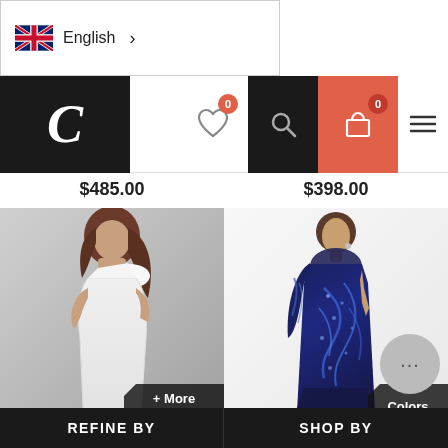[Figure (screenshot): Language selector showing UK flag and 'English >' text]
[Figure (screenshot): Navigation bar with 'C' logo, heart/wishlist icon with 0 badge, search icon, cart icon with 0 badge in coral/red, and hamburger menu]
$485.00
$398.00
[Figure (photo): Woman wearing white one-shoulder cocktail dress with bow detail]
+ More Colors
[Figure (photo): Woman wearing navy blue long-sleeve sequin gown]
Colors
REFINE BY
SHOP BY